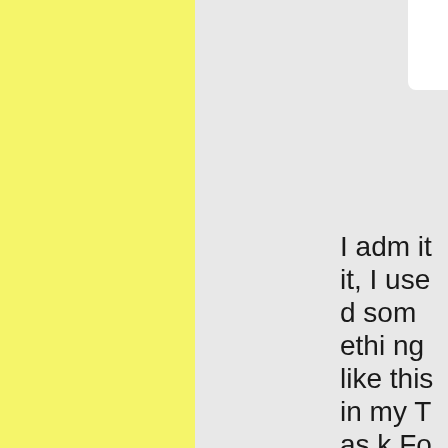I admit it, I used something like this in my Task Force Vall…